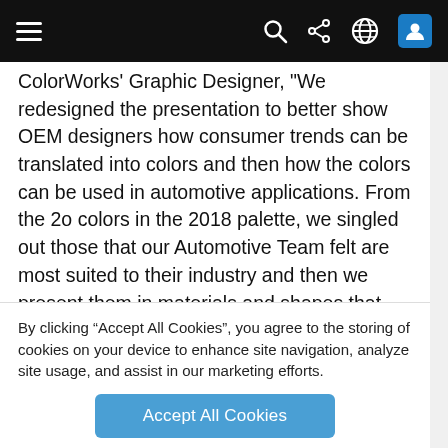[Navigation bar with hamburger menu, search, share, globe, and user icons]
ColorWorks' Graphic Designer, "We redesigned the presentation to better show OEM designers how consumer trends can be translated into colors and then how the colors can be used in automotive applications. From the 20 colors in the 2018 palette, we singled out those that our Automotive Team felt are most suited to their industry and then we present them in materials and shapes that reflect the surfaces and textures common in car design."
Because colors don't always look the same when produced in different materials, the 2018 colors are presented in forms that relate to different automotive
By clicking “Accept All Cookies”, you agree to the storing of cookies on your device to enhance site navigation, analyze site usage, and assist in our marketing efforts.